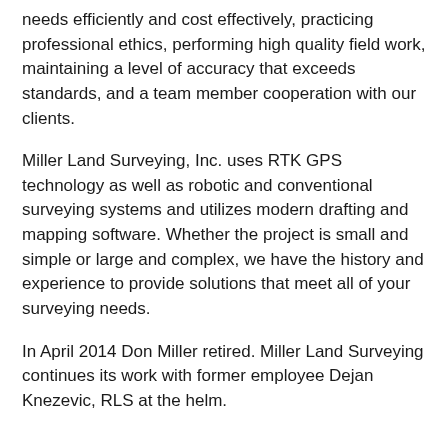needs efficiently and cost effectively, practicing professional ethics, performing high quality field work, maintaining a level of accuracy that exceeds standards, and a team member cooperation with our clients.
Miller Land Surveying, Inc. uses RTK GPS technology as well as robotic and conventional surveying systems and utilizes modern drafting and mapping software. Whether the project is small and simple or large and complex, we have the history and experience to provide solutions that meet all of your surveying needs.
In April 2014 Don Miller retired. Miller Land Surveying continues its work with former employee Dejan Knezevic, RLS at the helm.